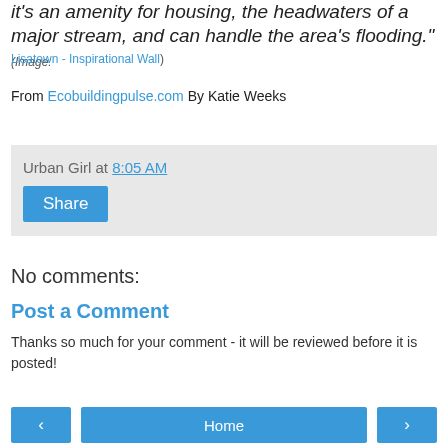it's an amenity for housing, the headwaters of a major stream, and can handle the area's flooding." (Image:
Lisatown - Inspirational Wall)
From Ecobuildingpulse.com By Katie Weeks
Urban Girl at 8:05 AM
Share
No comments:
Post a Comment
Thanks so much for your comment - it will be reviewed before it is posted!
< Home >